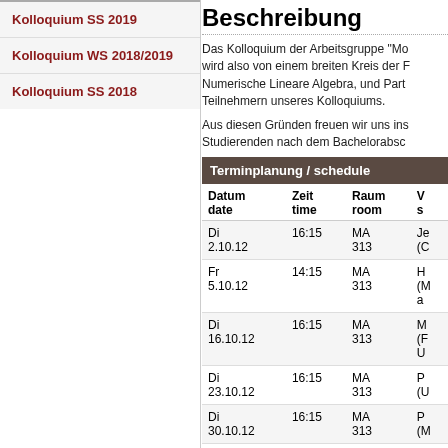Kolloquium SS 2019
Kolloquium WS 2018/2019
Kolloquium SS 2018
Beschreibung
Das Kolloquium der Arbeitsgruppe "Mo... wird also von einem breiten Kreis der F... Numerische Lineare Algebra, und Part... Teilnehmern unseres Kolloquiums.
Aus diesen Gründen freuen wir uns ins... Studierenden nach dem Bachelorabsc...
| Terminplanung / schedule |
| --- |
| Datum
date | Zeit
time | Raum
room | V... |
| Di
2.10.12 | 16:15 | MA
313 | Je...
(C... |
| Fr
5.10.12 | 14:15 | MA
313 | H...
(M...
a... |
| Di
16.10.12 | 16:15 | MA
313 | M...
(F...
U... |
| Di
23.10.12 | 16:15 | MA
313 | P...
(U... |
| Di
30.10.12 | 16:15 | MA
313 | P...
(M... |
| Do
1.11.12 | 16:15 | MA
313 | M... |